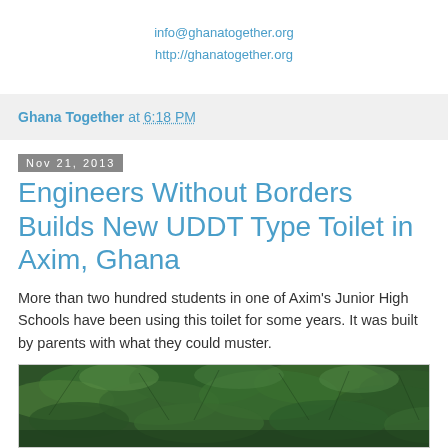info@ghanatogether.org
http://ghanatogether.org
Ghana Together at 6:18 PM
Nov 21, 2013
Engineers Without Borders Builds New UDDT Type Toilet in Axim, Ghana
More than two hundred students in one of Axim's Junior High Schools have been using this toilet for some years. It was built by parents with what they could muster.
[Figure (photo): Photo of dense palm tree foliage, green tropical vegetation in Axim, Ghana]